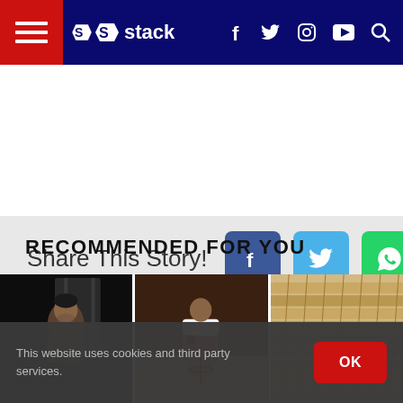Stack — Navigation bar with hamburger menu, Stack logo, social icons (f, Twitter, Instagram, YouTube) and search
[Figure (infographic): Share This Story bar with Facebook, Twitter, WhatsApp buttons]
RECOMMENDED FOR YOU
[Figure (photo): Basketball player portrait in dark gym]
[Figure (photo): Basketball player crouching with ball on court]
[Figure (photo): Stadium bleachers/stands]
This website uses cookies and third party services.